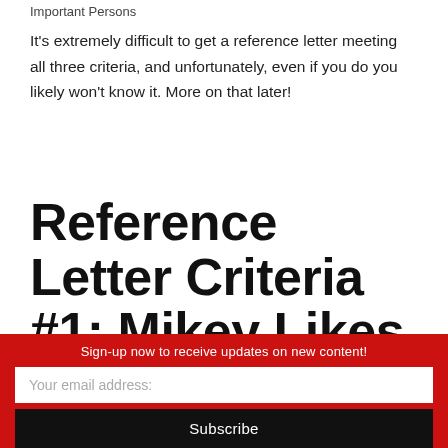Important Persons
It's extremely difficult to get a reference letter meeting all three criteria, and unfortunately, even if you do you likely won't know it. More on that later!
Reference Letter Criteria #1: Mikey Likes It
Sign-up now to receive updates on new content!
Your email address:
Subscribe